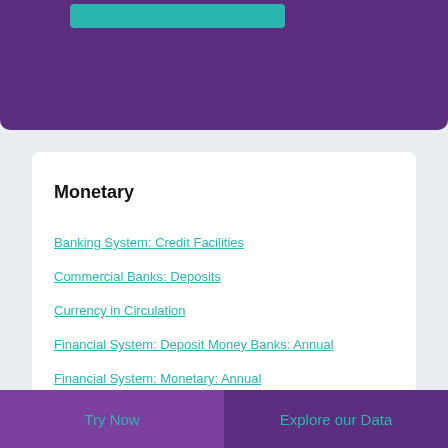[Figure (other): Purple header bar with teal button element at top of page]
Monetary
Banking System: Credit Facilities
Commercial Banks: Deposits
Currency in Circulation
Financial System: Deposit Money Banks: Annual
Financial System: Monetary: Annual
Financial System: Monetary: Quarterly
Foreign Reserves
International Liquidity
Try Now    Explore our Data